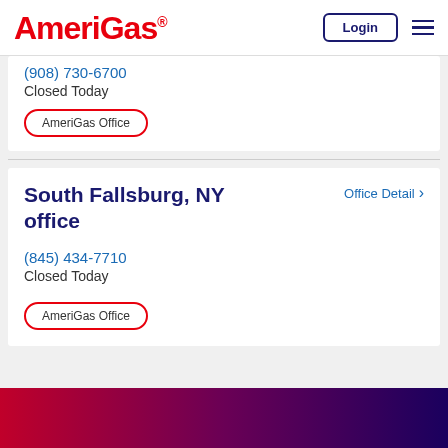AmeriGas® | Login | Menu
(908) 730-6700
Closed Today
AmeriGas Office
South Fallsburg, NY office
Office Detail
(845) 434-7710
Closed Today
AmeriGas Office